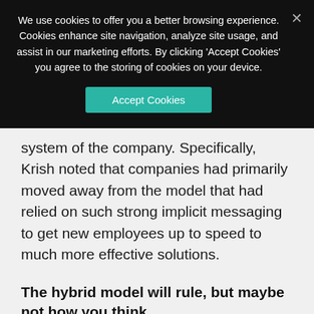[Figure (screenshot): Cookie consent banner overlay with dark background, text about cookies, an 'Accept Cookies' teal button, and an X close button.]
system of the company. Specifically, Krish noted that companies had primarily moved away from the model that had relied on such strong implicit messaging to get new employees up to speed to much more effective solutions.
The hybrid model will rule, but maybe not how you think
The workplace has undergone several changes over the last number of years, from